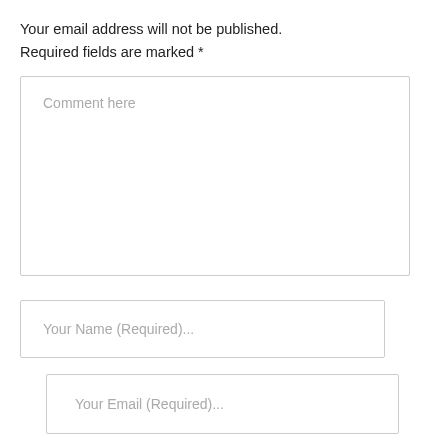Your email address will not be published. Required fields are marked *
[Figure (other): Comment text area form field with placeholder text 'Comment here']
[Figure (other): Name input field with placeholder text 'Your Name (Required)...']
[Figure (other): Email input field with placeholder text 'Your Email (Required)...']
[Figure (other): Submit button (partially visible at bottom)]